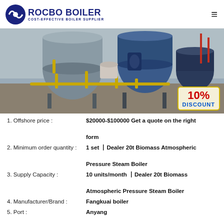[Figure (logo): Rocbo Boiler logo with circular icon and text 'ROCBO BOILER / COST-EFFECTIVE BOILER SUPPLIER']
[Figure (photo): Industrial boiler units in a factory setting, two large cylindrical boilers with yellow piping, a 10% DISCOUNT badge overlay in bottom right]
1. Offshore price : $20000-$100000 Get a quote on the right form
2. Minimum order quantity : 1 set 丨Dealer 20t Biomass Atmospheric Pressure Steam Boiler
3. Supply Capacity : 10 units/month 丨Dealer 20t Biomass Atmospheric Pressure Steam Boiler
4. Manufacturer/Brand : Fangkuai boiler
5. Port : Anyang